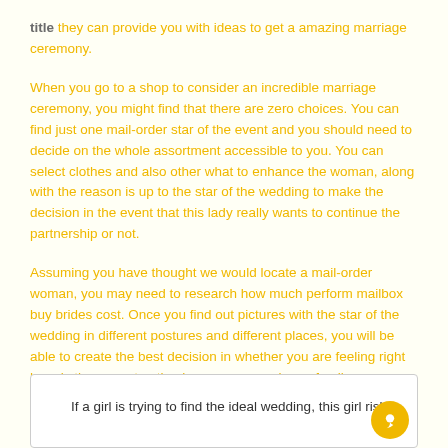title they can provide you with ideas to get a amazing marriage ceremony.
When you go to a shop to consider an incredible marriage ceremony, you might find that there are zero choices. You can find just one mail-order star of the event and you should need to decide on the whole assortment accessible to you. You can select clothes and also other what to enhance the woman, along with the reason is up to the star of the wedding to make the decision in the event that this lady really wants to continue the partnership or not.
Assuming you have thought we would locate a mail-order woman, you may need to research how much perform mailbox buy brides cost. Once you find out pictures with the star of the wedding in different postures and different places, you will be able to create the best decision in whether you are feeling right here is the correct option in your case and your family.
If a girl is trying to find the ideal wedding, this girl risk